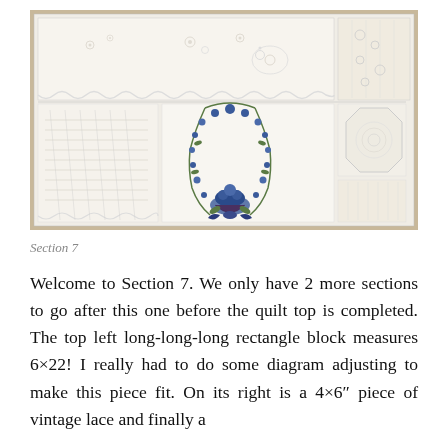[Figure (photo): A rectangular quilt top layout showing various white and cream fabric blocks with lace, embroidery, and needlework pieces arranged together. The top row features a long horizontal strip with eyelet lace trim, embroidered florals, and a narrow lace panel on the right. The bottom row shows a square with smocking or pintuck embroidery on the left, a large center square with a blue floral garland embroidery design, and on the right an octagonal white needlework piece and a narrow lace panel.]
Section 7
Welcome to Section 7. We only have 2 more sections to go after this one before the quilt top is completed. The top left long-long-long rectangle block measures 6×22! I really had to do some diagram adjusting to make this piece fit. On its right is a 4×6″ piece of vintage lace and finally a